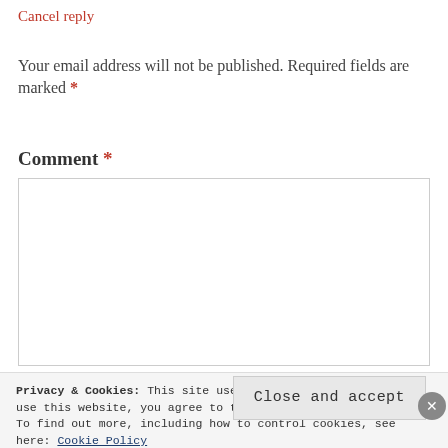Cancel reply
Your email address will not be published. Required fields are marked *
Comment *
[Figure (other): Comment text area input box, empty, with gray border]
Privacy & Cookies: This site uses cookies. By continuing to use this website, you agree to their use.
To find out more, including how to control cookies, see here: Cookie Policy
Close and accept